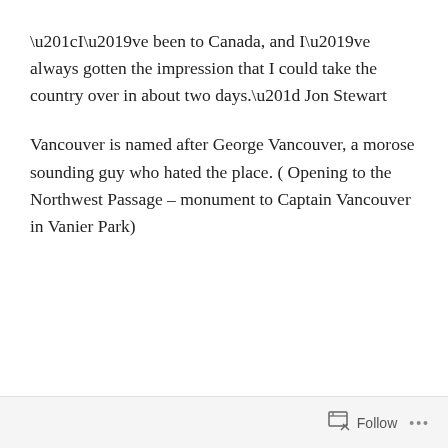“I’ve been to Canada, and I’ve always gotten the impression that I could take the country over in about two days.” Jon Stewart
Vancouver is named after George Vancouver, a morose sounding guy who hated the place. ( Opening to the Northwest Passage – monument to Captain Vancouver in Vanier Park)
Follow ...